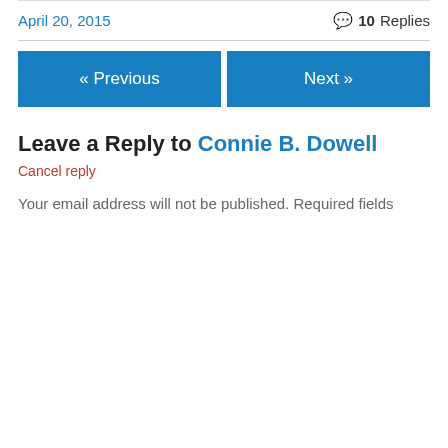April 20, 2015
10 Replies
« Previous
Next »
Leave a Reply to Connie B. Dowell
Cancel reply
Your email address will not be published. Required fields
Privacy & Cookies: This site uses cookies. By continuing to use this website, you agree to their use.
To find out more, including how to control cookies, see here: Cookie Policy
Close and accept